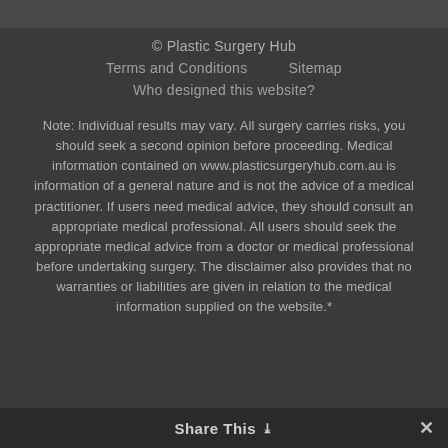© Plastic Surgery Hub
Terms and Conditions    Sitemap
Who designed this website?
Note: Individual results may vary. All surgery carries risks, you should seek a second opinion before proceeding. Medical information contained on www.plasticsurgeryhub.com.au is information of a general nature and is not the advice of a medical practitioner. If users need medical advice, they should consult an appropriate medical professional. All users should seek the appropriate medical advice from a doctor or medical professional before undertaking surgery. The disclaimer also provides that no warranties or liabilities are given in relation to the medical information supplied on the website.*
Share This ∨  ✕